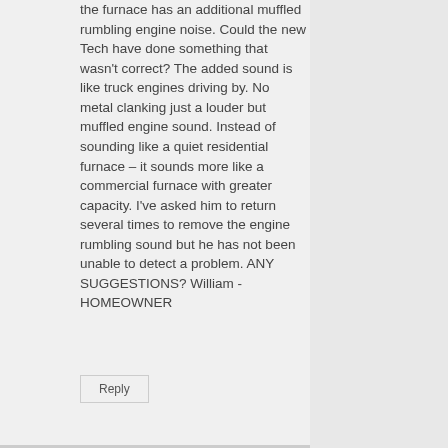the furnace has an additional muffled rumbling engine noise. Could the new Tech have done something that wasn't correct? The added sound is like truck engines driving by. No metal clanking just a louder but muffled engine sound. Instead of sounding like a quiet residential furnace – it sounds more like a commercial furnace with greater capacity. I've asked him to return several times to remove the engine rumbling sound but he has not been unable to detect a problem. ANY SUGGESTIONS? William - HOMEOWNER
Reply